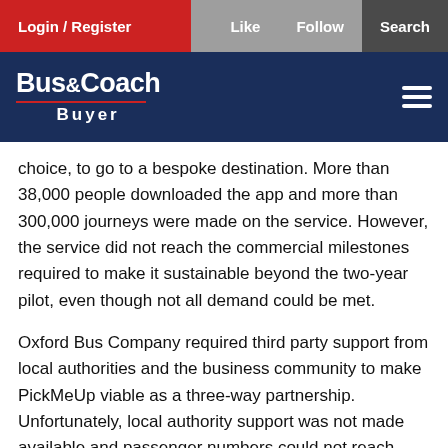Login / Register | Like | Follow | Search
[Figure (logo): Bus&Coach Buyer website logo on dark navy blue background with hamburger menu icon]
choice, to go to a bespoke destination. More than 38,000 people downloaded the app and more than 300,000 journeys were made on the service. However, the service did not reach the commercial milestones required to make it sustainable beyond the two-year pilot, even though not all demand could be met.
Oxford Bus Company required third party support from local authorities and the business community to make PickMeUp viable as a three-way partnership. Unfortunately, local authority support was not made available and passenger numbers could not reach required targets as congestion slowed buses down to 9mph just at the time demand was at its greatest.